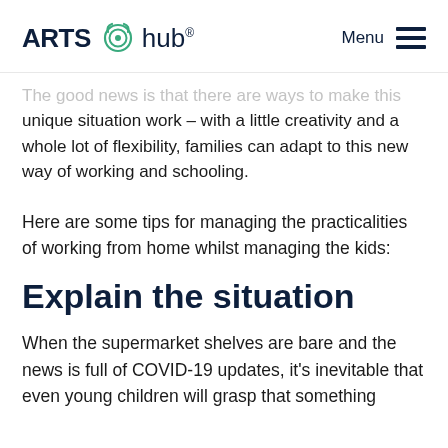ARTS hub® Menu
The good news is that there are ways to make this unique situation work – with a little creativity and a whole lot of flexibility, families can adapt to this new way of working and schooling.
Here are some tips for managing the practicalities of working from home whilst managing the kids:
Explain the situation
When the supermarket shelves are bare and the news is full of COVID-19 updates, it's inevitable that even young children will grasp that something